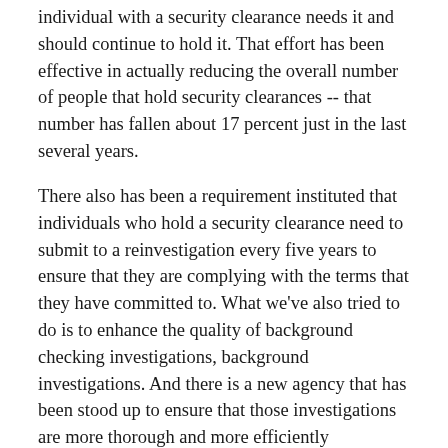individual with a security clearance needs it and should continue to hold it. That effort has been effective in actually reducing the overall number of people that hold security clearances -- that number has fallen about 17 percent just in the last several years.
There also has been a requirement instituted that individuals who hold a security clearance need to submit to a reinvestigation every five years to ensure that they are complying with the terms that they have committed to. What we've also tried to do is to enhance the quality of background checking investigations, background investigations. And there is a new agency that has been stood up to ensure that those investigations are more thorough and more efficiently conducted.
So this is certainly something that the administration takes seriously, and there are important lessons that we have learned since the case of Mr. Snowden. But, Darlene, I think that this risk is always going to be there as long as there is a desire to share sensitive information across the government.